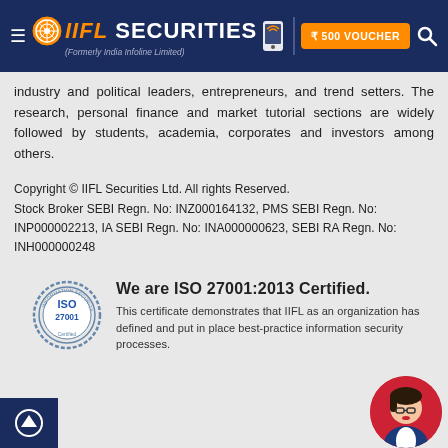IIFL Securities (Formerly India Infoline Limited) — ₹500 VOUCHER
industry and political leaders, entrepreneurs, and trend setters. The research, personal finance and market tutorial sections are widely followed by students, academia, corporates and investors among others.
Copyright © IIFL Securities Ltd. All rights Reserved.
Stock Broker SEBI Regn. No: INZ000164132, PMS SEBI Regn. No: INP000002213, IA SEBI Regn. No: INA000000623, SEBI RA Regn. No: INH000000248
[Figure (logo): ISO 27001:2013 certification badge — circular stamp design with 'ISO 27001' text]
We are ISO 27001:2013 Certified.
This certificate demonstrates that IIFL as an organization has defined and put in place best-practice information security processes.